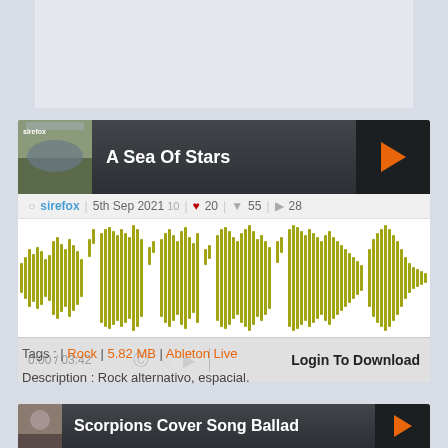[Figure (screenshot): Top banner/advertisement placeholder area (gray)]
[Figure (screenshot): Music player card for 'A Sea Of Stars' by sirefox. Shows album art, waveform visualization in olive/yellow-green color, track metadata (5th Sep 2021, 10 plays, 20 likes, 55 down-votes, 28 comments), playback controls showing 0:00 / 03:42, and Login To Download button.]
Tags : | Rock | 5.82 MB | Ableton Live
Description : Rock alternativo, espacial.
[Figure (screenshot): Partial music player card for 'Scorpions Cover Song Ballad' — shows header bar with album art, title, and orange play button]